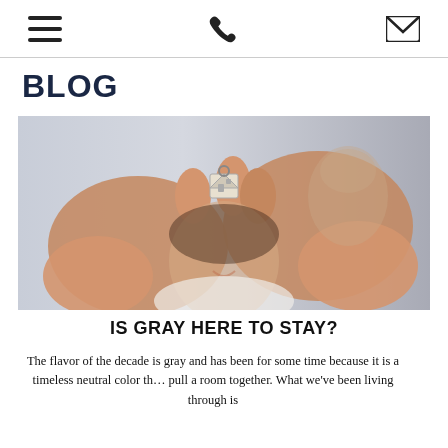[navigation icons: hamburger menu, phone, envelope]
BLOG
[Figure (photo): A couple forming a heart shape with their hands, holding a small house-shaped keychain in front of them. The woman is smiling, blurred in the background. The scene suggests home ownership or real estate.]
IS GRAY HERE TO STAY?
The flavor of the decade is gray and has been for some time because it is a timeless neutral color that can pull a room together. What we've been living through is